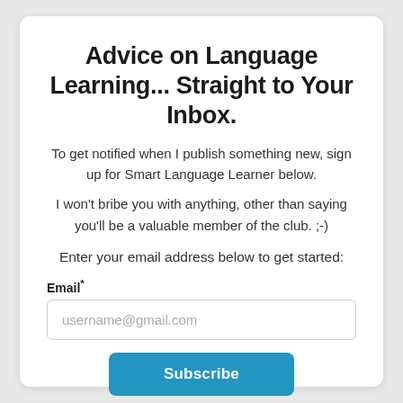Advice on Language Learning... Straight to Your Inbox.
To get notified when I publish something new, sign up for Smart Language Learner below.
I won't bribe you with anything, other than saying you'll be a valuable member of the club. ;-)
Enter your email address below to get started:
Email*
username@gmail.com
Subscribe